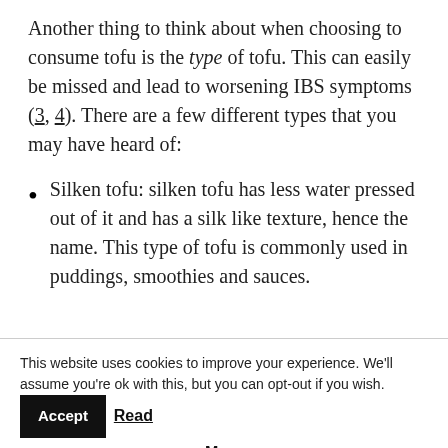Another thing to think about when choosing to consume tofu is the type of tofu. This can easily be missed and lead to worsening IBS symptoms (3, 4). There are a few different types that you may have heard of:
Silken tofu: silken tofu has less water pressed out of it and has a silk like texture, hence the name. This type of tofu is commonly used in puddings, smoothies and sauces.
This website uses cookies to improve your experience. We'll assume you're ok with this, but you can opt-out if you wish. Accept Read More